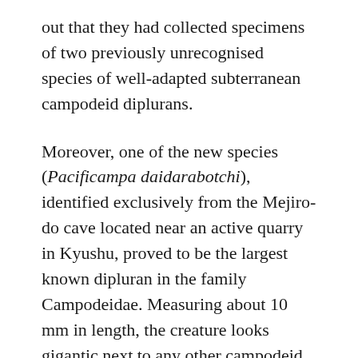out that they had collected specimens of two previously unrecognised species of well-adapted subterranean campodeid diplurans.
Moreover, one of the new species (Pacificampa daidarabotchi), identified exclusively from the Mejiro-do cave located near an active quarry in Kyushu, proved to be the largest known dipluran in the family Campodeidae. Measuring about 10 mm in length, the creature looks gigantic next to any other campodeid, which, most often, are only half as big.
Inspired by the peculiar size of the former, the researchers decided to name it after the giant yōkai creature Daidarabotchi, known from